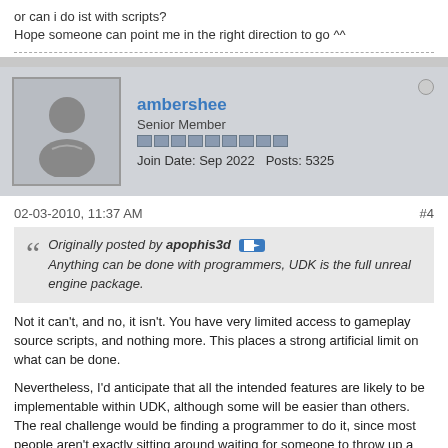or can i do ist with scripts?
Hope someone can point me in the right direction to go ^^
ambershee
Senior Member
Join Date: Sep 2022   Posts: 5325
02-03-2010, 11:37 AM   #4
Originally posted by apophis3d
Anything can be done with programmers, UDK is the full unreal engine package.
Not it can't, and no, it isn't. You have very limited access to gameplay source scripts, and nothing more. This places a strong artificial limit on what can be done.
Nevertheless, I'd anticipate that all the intended features are likely to be implementable within UDK, although some will be easier than others. The real challenge would be finding a programmer to do it, since most people aren't exactly sitting around waiting for someone to throw up a white 'help' flag and do it all for you. Especially when it seems like you want to create a project to meet a specific end